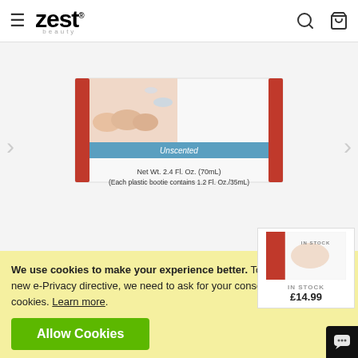Zest Beauty — navigation header with hamburger menu, logo, search and bag icons
[Figure (photo): Product image of Baby Foot Moisturizing Foot Mask box, showing feet and text: Unscented, Net Wt. 2.4 Fl. Oz. (70mL), (Each plastic bootie contains 1.2 Fl. Oz./35mL)]
Baby Foot Moisturizing Foot Mask
Back to top
Be the first to review this product
£14.99
We use cookies to make your experience better. To comply with the new e-Privacy directive, we need to ask for your consent to set the cookies. Learn more.
Allow Cookies
[Figure (photo): Small thumbnail of product with IN STOCK label and price £14.99]